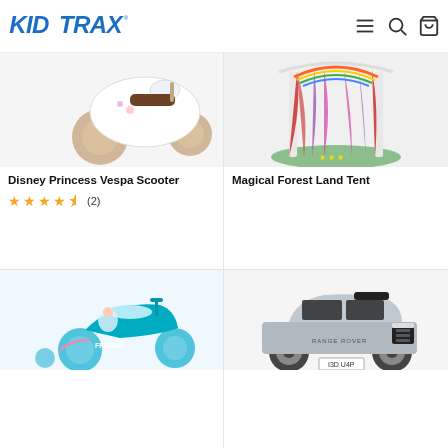Kid Trax
[Figure (photo): Disney Princess Vespa Scooter - white scooter with rose gold wheels and Disney Princess decorations]
Disney Princess Vespa Scooter
★★★★½ (2)
[Figure (photo): Magical Forest Land Tent - colorful play tent with green grass floor, colorful curtains in red, purple, pink]
Magical Forest Land Tent
[Figure (photo): Frozen themed electric ride-on scooter in blue/teal with Frozen character artwork]
[Figure (photo): Range Rover licensed ride-on electric vehicle in silver/grey]